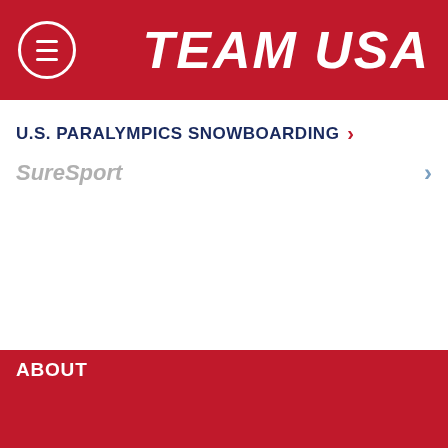TEAM USA
U.S. PARALYMPICS SNOWBOARDING >
SureSport >
ABOUT
NEWS
ATHLETES
ATHLETE SERVICES
ATHLETE SAFETY
ATHLETE OMBUDS
MENTAL HEALTH
DONATE
SHOP